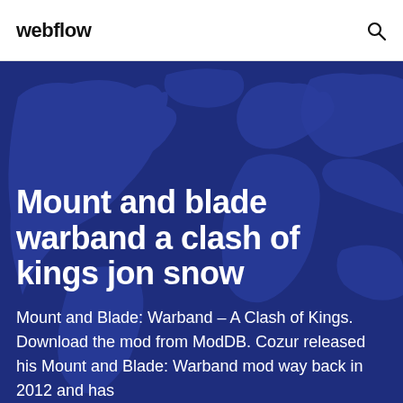webflow
[Figure (illustration): World map silhouette in dark blue tones used as hero background]
Mount and blade warband a clash of kings jon snow
Mount and Blade: Warband – A Clash of Kings. Download the mod from ModDB. Cozur released his Mount and Blade: Warband mod way back in 2012 and has